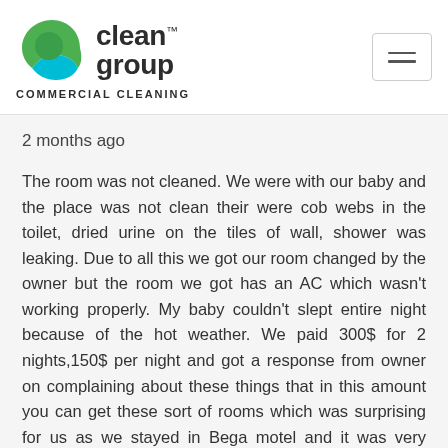[Figure (logo): Clean Group Commercial Cleaning logo with circular green/teal icon and hamburger menu button]
2 months ago
The room was not cleaned. We were with our baby and the place was not clean their were cob webs in the toilet, dried urine on the tiles of wall, shower was leaking. Due to all this we got our room changed by the owner but the room we got has an AC which wasn't working properly. My baby couldn't slept entire night because of the hot weather. We paid 300$ for 2 nights,150$ per night and got a response from owner on complaining about these things that in this amount you can get these sort of rooms which was surprising for us as we stayed in Bega motel and it was very cleaned and well maintained.